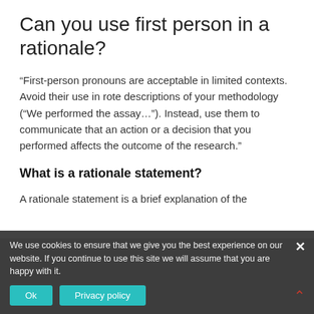Can you use first person in a rationale?
“First-person pronouns are acceptable in limited contexts. Avoid their use in rote descriptions of your methodology (“We performed the assay…”). Instead, use them to communicate that an action or a decision that you performed affects the outcome of the research.”
What is a rationale statement?
A rationale statement is a brief explanation of the reasons for conducting a given study. In its broadest sense, a rationale statement plays a crucial role in justifying and supporting the need for undertaking a given academic exercise.
We use cookies to ensure that we give you the best experience on our website. If you continue to use this site we will assume that you are happy with it.